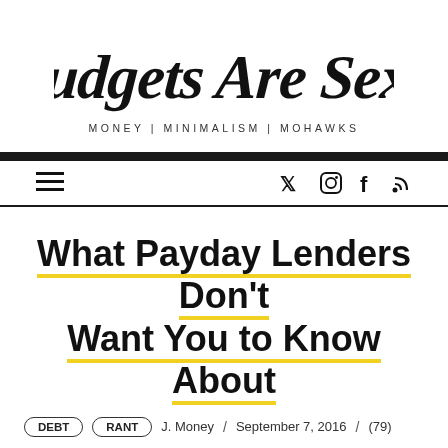Budgets Are Sexy
MONEY | MINIMALISM | MOHAWKS
What Payday Lenders Don't Want You to Know About
DEBT   RANT   J. Money  /  September 7, 2016  /  (79)